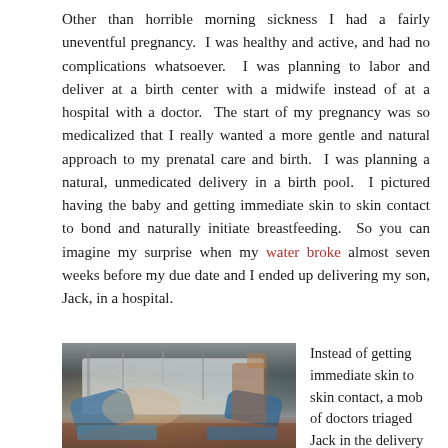Other than horrible morning sickness I had a fairly uneventful pregnancy. I was healthy and active, and had no complications whatsoever. I was planning to labor and deliver at a birth center with a midwife instead of at a hospital with a doctor. The start of my pregnancy was so medicalized that I really wanted a more gentle and natural approach to my prenatal care and birth. I was planning a natural, unmedicated delivery in a birth pool. I pictured having the baby and getting immediate skin to skin contact to bond and naturally initiate breastfeeding. So you can imagine my surprise when my water broke almost seven weeks before my due date and I ended up delivering my son, Jack, in a hospital.
[Figure (photo): Photo of newborn baby being triaged by medical staff wearing blue gloves, with medical equipment visible, taken in a hospital delivery room.]
Instead of getting immediate skin to skin contact, a mob of doctors triaged Jack in the delivery room to make sure everything was okay.